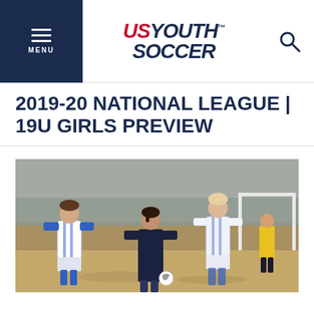MENU | US YOUTH SOCCER
2019-20 NATIONAL LEAGUE | 19U GIRLS PREVIEW
[Figure (photo): Youth soccer players in action on a field — players in white/blue uniforms and dark navy uniform competing for the ball, with a goal visible in the background and a yellow-jacketed official]